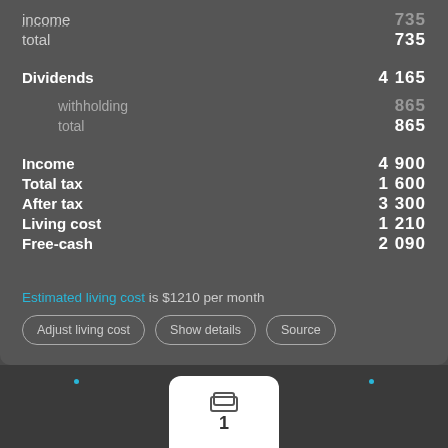income  735
total  735
Dividends  4165
withholding  865
total  865
Income  4 900
Total tax  1 600
After tax  3 300
Living cost  1 210
Free-cash  2 090
Estimated living cost is $1210 per month
Adjust living cost | Show details | Source